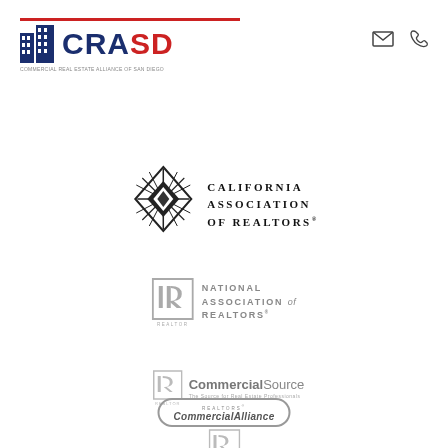[Figure (logo): CRASD logo — Commercial Real Estate Alliance of San Diego, with building icon, red underline, and dark blue/red lettering]
[Figure (logo): Email and phone icons in header top-right]
[Figure (logo): California Association of REALTORS logo with diamond sunburst icon and serif uppercase text]
[Figure (logo): National Association of REALTORS logo with IR box and gray uppercase text]
[Figure (logo): CommercialSource logo with IR icon and bold/light text combination]
[Figure (logo): REALTORS Commercial Alliance logo with oval border, italic text, and IR realtor icon]